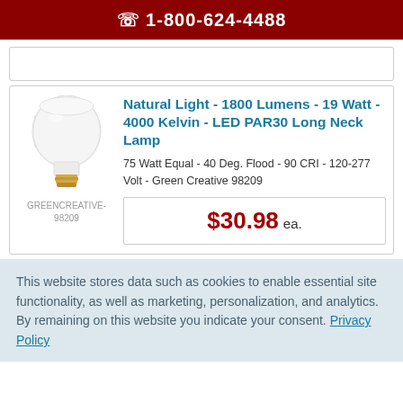1-800-624-4488
[Figure (photo): White LED PAR30 long neck lamp bulb product photo]
GREENCREATIVE-98209
Natural Light - 1800 Lumens - 19 Watt - 4000 Kelvin - LED PAR30 Long Neck Lamp
75 Watt Equal - 40 Deg. Flood - 90 CRI - 120-277 Volt - Green Creative 98209
$30.98 ea.
This website stores data such as cookies to enable essential site functionality, as well as marketing, personalization, and analytics. By remaining on this website you indicate your consent. Privacy Policy